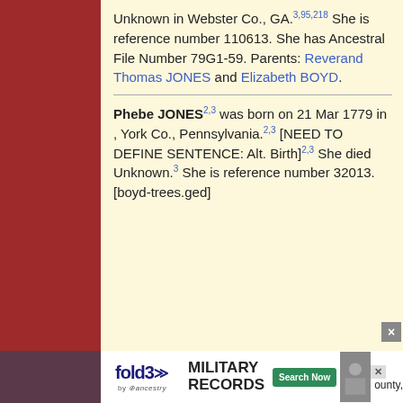Unknown in Webster Co., GA.3,95,218 She is reference number 110613. She has Ancestral File Number 79G1-59. Parents: Reverand Thomas JONES and Elizabeth BOYD.
Phebe JONES2,3 was born on 21 Mar 1779 in , York Co., Pennsylvania.2,3 [NEED TO DEFINE SENTENCE: Alt. Birth]2,3 She died Unknown.3 She is reference number 32013. [boyd-trees.ged]
[Figure (other): fold3 by Ancestry advertisement banner for Military Records with Search Now button and soldier photo]